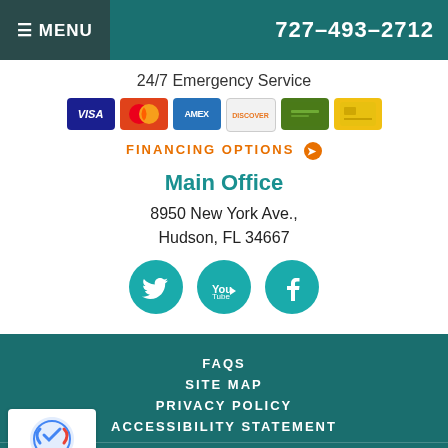≡ MENU   727-493-2712
24/7 Emergency Service
[Figure (other): Payment method icons: Visa, Mastercard, American Express, Discover, and two others]
FINANCING OPTIONS ❯
Main Office
8950 New York Ave.,
Hudson, FL 34667
[Figure (other): Social media icons: Twitter, YouTube, Facebook — teal circular buttons]
FAQS
SITE MAP
PRIVACY POLICY
ACCESSIBILITY STATEMENT
© 2011–2022 Bayonet Plumbing, Heating & Air Conditioning